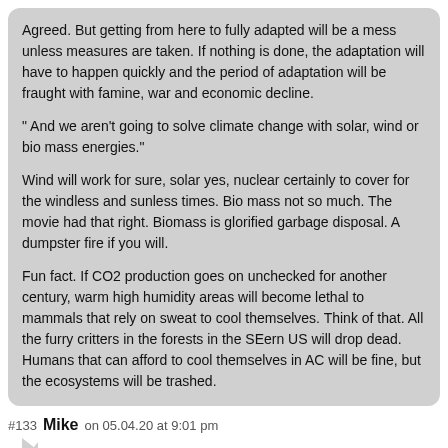Agreed. But getting from here to fully adapted will be a mess unless measures are taken. If nothing is done, the adaptation will have to happen quickly and the period of adaptation will be fraught with famine, war and economic decline.

" And we aren't going to solve climate change with solar, wind or bio mass energies."

Wind will work for sure, solar yes, nuclear certainly to cover for the windless and sunless times. Bio mass not so much. The movie had that right. Biomass is glorified garbage disposal. A dumpster fire if you will.

Fun fact. If CO2 production goes on unchecked for another century, warm high humidity areas will become lethal to mammals that rely on sweat to cool themselves. Think of that. All the furry critters in the forests in the SEern US will drop dead. Humans that can afford to cool themselves in AC will be fine, but the ecosystems will be trashed.
#133  Mike  on 05.04.20 at 9:01 pm
LOWER BRAINLAND home prices won't come down….bring on whatever